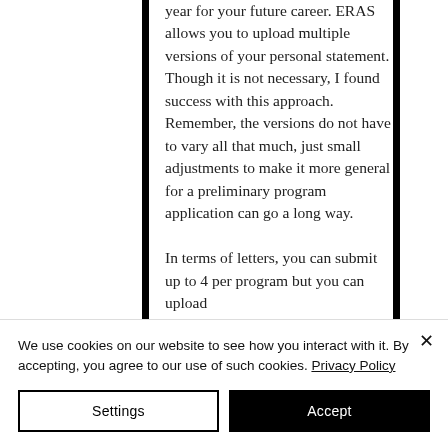year for your future career. ERAS allows you to upload multiple versions of your personal statement. Though it is not necessary, I found success with this approach. Remember, the versions do not have to vary all that much, just small adjustments to make it more general for a preliminary program application can go a long way.

In terms of letters, you can submit up to 4 per program but you can upload
We use cookies on our website to see how you interact with it. By accepting, you agree to our use of such cookies. Privacy Policy